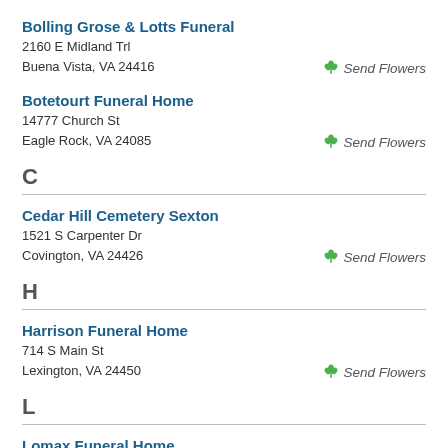Bolling Grose & Lotts Funeral
2160 E Midland Trl
Buena Vista, VA 24416
Botetourt Funeral Home
14777 Church St
Eagle Rock, VA 24085
C
Cedar Hill Cemetery Sexton
1521 S Carpenter Dr
Covington, VA 24426
H
Harrison Funeral Home
714 S Main St
Lexington, VA 24450
L
Lomax Funeral Home
2060 E Midland Trl